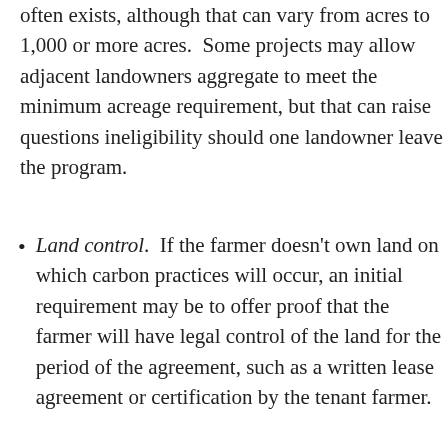often exists, although that can vary from acres to 1,000 or more acres.  Some projects may allow adjacent landowners aggregate to meet the minimum acreage requirement, but that can raise questions ineligibility should one landowner leave the program.
Land control.  If the farmer doesn't own land on which carbon practices will occur, an initial requirement may be to offer proof that the farmer will have legal control of the land for the period of the agreement, such as a written lease agreement or certification by the tenant farmer.